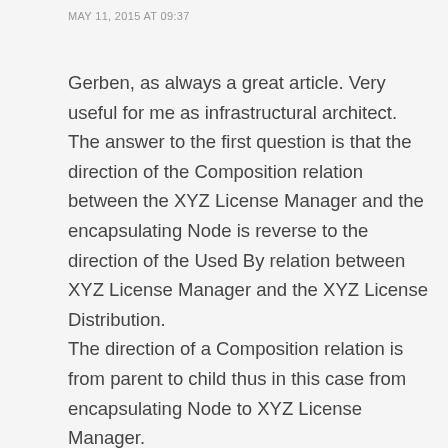MAY 11, 2015 AT 09:37
Gerben, as always a great article. Very useful for me as infrastructural architect. The answer to the first question is that the direction of the Composition relation between the XYZ License Manager and the encapsulating Node is reverse to the direction of the Used By relation between XYZ License Manager and the XYZ License Distribution. The direction of a Composition relation is from parent to child thus in this case from encapsulating Node to XYZ License Manager. The direction from the Used By relation is from XYZ License Distribution to XYZ License